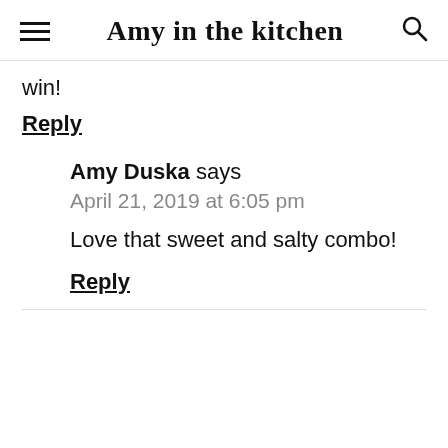Amy in the kitchen
win!
Reply
Amy Duska says
April 21, 2019 at 6:05 pm
Love that sweet and salty combo!
Reply